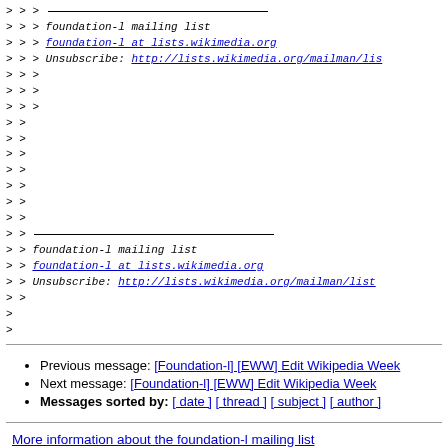> > > ___
> > > foundation-l mailing list
> > > foundation-l at lists.wikimedia.org
> > > Unsubscribe: http://lists.wikimedia.org/mailman/lis...
> > >
> > >
> > >
> >
> >
> >
> >
> >
> >
> >
> > ___
> > foundation-l mailing list
> > foundation-l at lists.wikimedia.org
> > Unsubscribe: http://lists.wikimedia.org/mailman/list...
> >
>
>
Previous message: [Foundation-l] [EWW] Edit Wikipedia Week
Next message: [Foundation-l] [EWW] Edit Wikipedia Week
Messages sorted by: [ date ] [ thread ] [ subject ] [ author ]
More information about the foundation-l mailing list